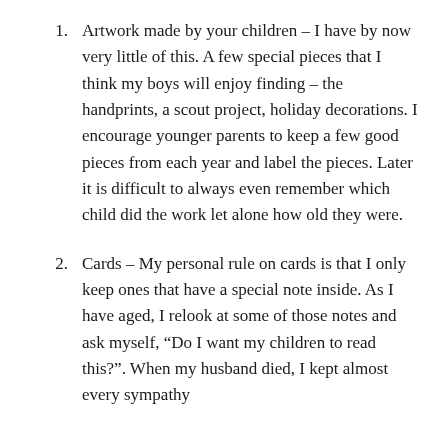Artwork made by your children – I have by now very little of this. A few special pieces that I think my boys will enjoy finding – the handprints, a scout project, holiday decorations. I encourage younger parents to keep a few good pieces from each year and label the pieces. Later it is difficult to always even remember which child did the work let alone how old they were.
Cards – My personal rule on cards is that I only keep ones that have a special note inside. As I have aged, I relook at some of those notes and ask myself, “Do I want my children to read this?”. When my husband died, I kept almost every sympathy